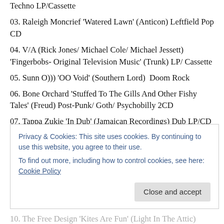Techno LP/Cassette
03. Raleigh Moncrief ‘Watered Lawn’ (Anticon) Leftfield Pop CD
04. V/A (Rick Jones/ Michael Cole/ Michael Jessett) ‘Fingerbobs- Original Television Music’ (Trunk) LP/ Cassette
05. Sunn O))) ‘OO Void’ (Southern Lord)  Doom Rock
06. Bone Orchard ‘Stuffed To The Gills And Other Fishy Tales’ (Freud) Post-Punk/ Goth/ Psychobilly 2CD
07. Tappa Zukie ‘In Dub’ (Jamaican Recordings) Dub LP/CD
Privacy & Cookies: This site uses cookies. By continuing to use this website, you agree to their use.
To find out more, including how to control cookies, see here: Cookie Policy
10. The Free Design ‘Kites Are Fun’ (Light In The Attic)